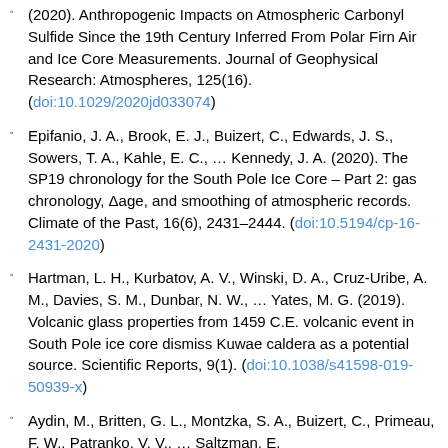(2020). Anthropogenic Impacts on Atmospheric Carbonyl Sulfide Since the 19th Century Inferred From Polar Firn Air and Ice Core Measurements. Journal of Geophysical Research: Atmospheres, 125(16). (doi:10.1029/2020jd033074)
Epifanio, J. A., Brook, E. J., Buizert, C., Edwards, J. S., Sowers, T. A., Kahle, E. C., … Kennedy, J. A. (2020). The SP19 chronology for the South Pole Ice Core – Part 2: gas chronology, Δage, and smoothing of atmospheric records. Climate of the Past, 16(6), 2431–2444. (doi:10.5194/cp-16-2431-2020)
Hartman, L. H., Kurbatov, A. V., Winski, D. A., Cruz-Uribe, A. M., Davies, S. M., Dunbar, N. W., … Yates, M. G. (2019). Volcanic glass properties from 1459 C.E. volcanic event in South Pole ice core dismiss Kuwae caldera as a potential source. Scientific Reports, 9(1). (doi:10.1038/s41598-019-50939-x)
Aydin, M., Britten, G. L., Montzka, S. A., Buizert, C., Primeau, F. W., Patranko, V. V., … Saltzman, E.